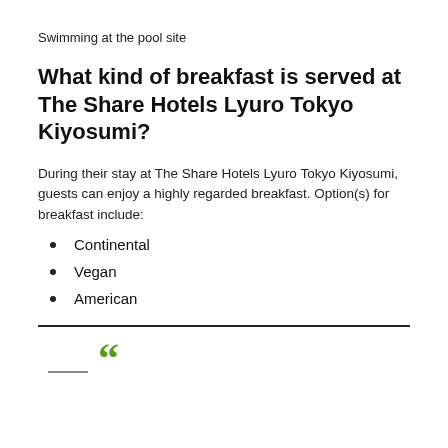Swimming at the pool site
What kind of breakfast is served at The Share Hotels Lyuro Tokyo Kiyosumi?
During their stay at The Share Hotels Lyuro Tokyo Kiyosumi, guests can enjoy a highly regarded breakfast. Option(s) for breakfast include:
Continental
Vegan
American